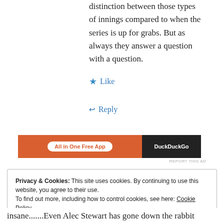distinction between those types of innings compared to when the series is up for grabs. But as always they answer a question with a question.
★ Like
↩ Reply
[Figure (other): DuckDuckGo advertisement banner: orange left section with 'All in One Free App' button, dark right section with DuckDuckGo text]
REPORT THIS AD
Privacy & Cookies: This site uses cookies. By continuing to use this website, you agree to their use.
To find out more, including how to control cookies, see here: Cookie Policy

Close and accept
insane.......Even Alec Stewart has gone down the rabbit